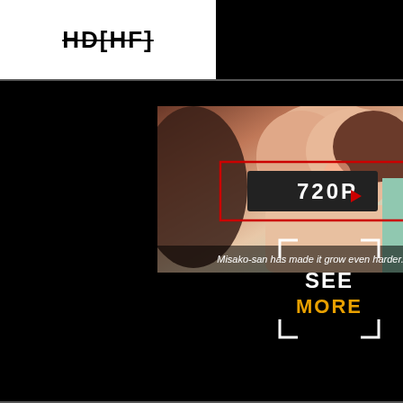HD[HF]
[Figure (screenshot): Anime video thumbnail with play button overlay showing '720P' and subtitle text 'Misako-san has made it grow even harder.']
[Figure (infographic): SEE MORE box with white corner brackets on black background]